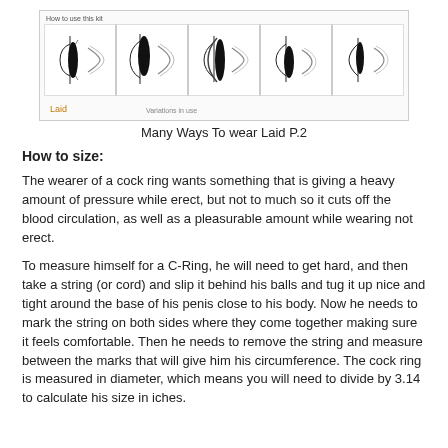[Figure (illustration): A series of 5 instructional illustration panels showing different ways to wear a cock ring called 'Laid', with small line drawings in each panel. Top label reads 'How to use this kit'. Bottom labels: 'Laid' on far left, 'Variations in use' on second panel.]
Many Ways To wear Laid P.2
How to size:
The wearer of a cock ring wants something that is giving a heavy amount of pressure while erect, but not to much so it cuts off the blood circulation, as well as a pleasurable amount while wearing not erect.
To measure himself for a C-Ring, he will need to get hard, and then take a string (or cord) and slip it behind his balls and tug it up nice and tight around the base of his penis close to his body. Now he needs to mark the string on both sides where they come together making sure it feels comfortable. Then he needs to remove the string and measure between the marks that will give him his circumference. The cock ring is measured in diameter, which means you will need to divide by 3.14 to calculate his size in iches.